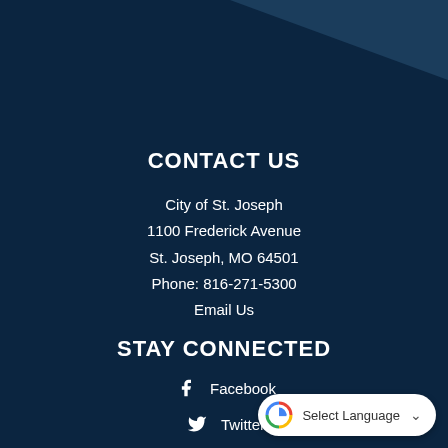CONTACT US
City of St. Joseph
1100 Frederick Avenue
St. Joseph, MO 64501
Phone: 816-271-5300
Email Us
STAY CONNECTED
Facebook
Twitter
YouTube
Select Language